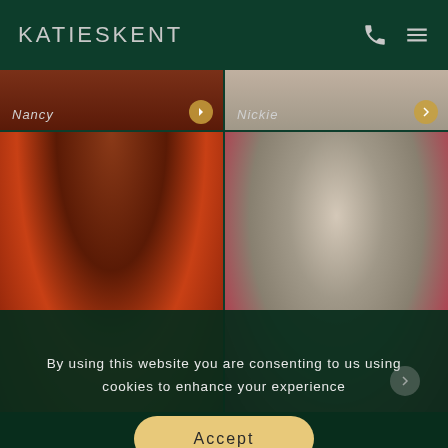KATIESKENT
[Figure (photo): Partially visible photo card labeled 'Nancy' with gold arrow button]
[Figure (photo): Partially visible photo card labeled 'Nickie' with gold arrow button]
[Figure (photo): Red-haired woman in black and red lace bra]
[Figure (photo): Blonde woman in red dress posing]
By using this website you are consenting to us using cookies to enhance your experience
Accept